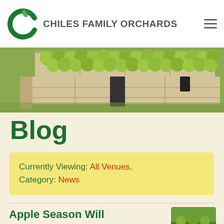CHILES FAMILY ORCHARDS
[Figure (photo): A wooden crate filled with green apples, photographed from close range showing many apples piled high in a rustic wooden bin.]
Blog
Currently Viewing: All Venues, Category: News
Apple Season Will